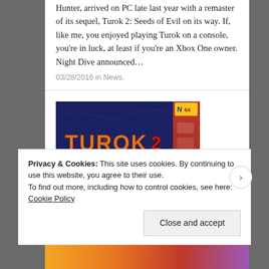Hunter, arrived on PC late last year with a remaster of its sequel, Turok 2: Seeds of Evil on its way. If, like me, you enjoyed playing Turok on a console, you're in luck, at least if you're an Xbox One owner. Night Dive announced…
03/28/2016 in News.
[Figure (photo): Turok 2: Seeds of Evil Nintendo 64 game box art showing orange/gold stylized 'TUROK 2' logo with 'SEEDS OF EVIL' subtitle on a dark blue textured background with N64 cartridge label visible on right side]
Privacy & Cookies: This site uses cookies. By continuing to use this website, you agree to their use.
To find out more, including how to control cookies, see here: Cookie Policy
Close and accept